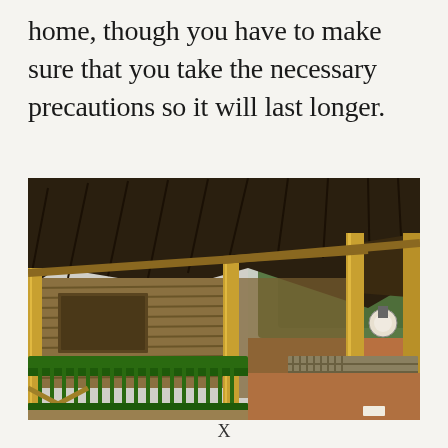home, though you have to make sure that you take the necessary precautions so it will last longer.
[Figure (photo): A bamboo house structure with a thatched/nipa roof, bamboo walls and flooring, raised on stilts, with green metal fence railings and yellow bamboo posts. A light fixture is visible on the right side. Lush green trees visible in the background.]
X